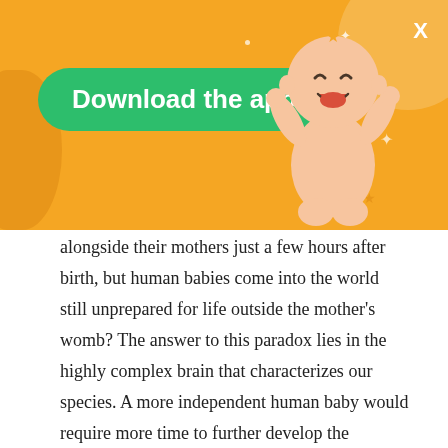[Figure (illustration): Orange banner with 'Download the app' green button and illustrated baby with arms raised on orange background with decorative stars and dots]
alongside their mothers just a few hours after birth, but human babies come into the world still unprepared for life outside the mother's womb? The answer to this paradox lies in the highly complex brain that characterizes our species. A more independent human baby would require more time to further develop the nervous system and the resulting large head-size would make delivery impossible. Although human babies are born full term after 37 weeks of gestation, they are nonetheless developmentally premature and depend on their caregivers for survival. That's why, for practical reasons, evolution relied on our social nature to help the